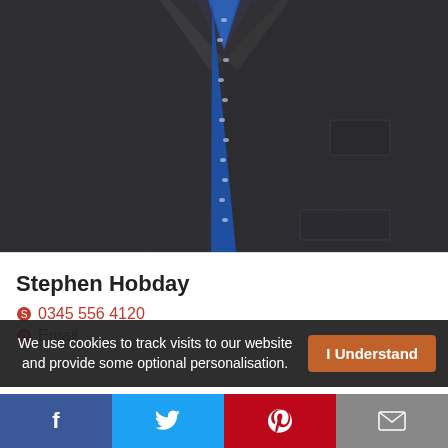[Figure (photo): Close-up photo of a man in a dark charcoal suit with a blue patterned tie, showing the chest and lapel area.]
Stephen Hobday
0345 556 4120
Email
We use cookies to track visits to our website and provide some optional personalisation.
I Understand
f
t
p
✉